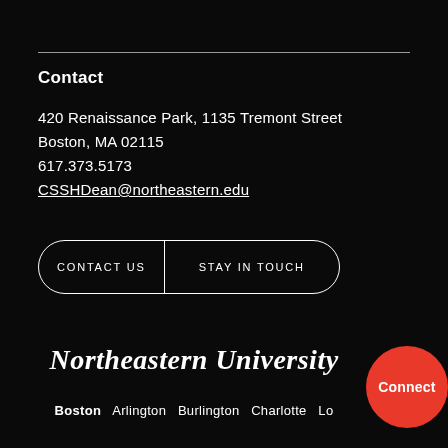Contact
420 Renaissance Park, 1135 Tremont Street
Boston, MA 02115
617.373.5173
CSSHDean@northeastern.edu
CONTACT US   STAY IN TOUCH
Northeastern University
Boston   Arlington   Burlington   Charlotte   Lo...